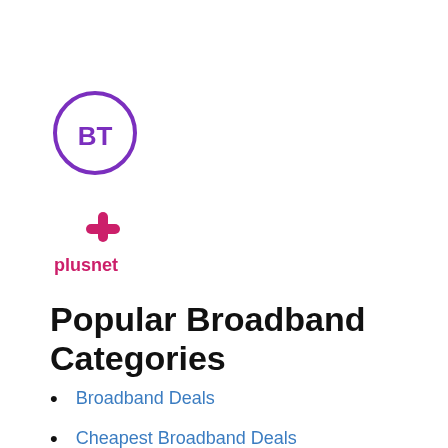[Figure (logo): BT logo — purple circle outline with 'BT' text in bold purple inside]
[Figure (logo): Plusnet logo — pink cross/plus icon above the word 'plusnet' in pink lowercase text]
Popular Broadband Categories
Broadband Deals
Cheapest Broadband Deals